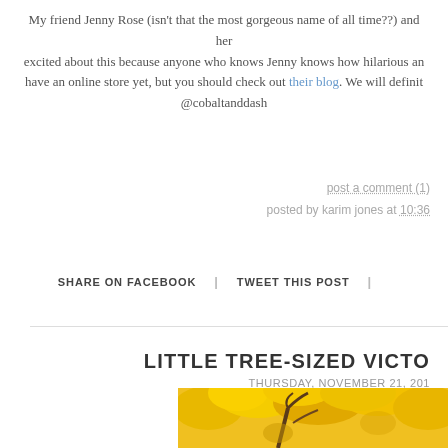My friend Jenny Rose (isn't that the most gorgeous name of all time??) and her excited about this because anyone who knows Jenny knows how hilarious an have an online store yet, but you should check out their blog. We will definit @cobaltanddash
post a comment (1)
posted by karim jones at 10:36
SHARE ON FACEBOOK  |  TWEET THIS POST  |
LITTLE TREE-SIZED VICTO
THURSDAY, NOVEMBER 21, 201
[Figure (photo): Photo of a tree with bright yellow autumn leaves viewed from below looking up]